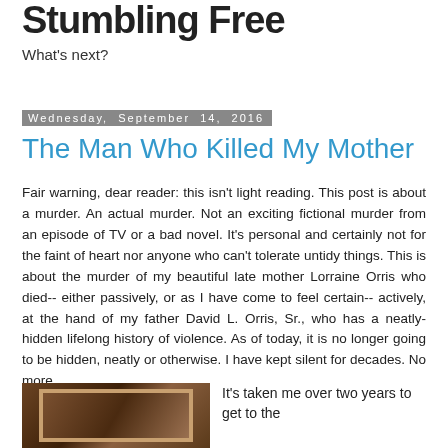Stumbling Free
What's next?
Wednesday, September 14, 2016
The Man Who Killed My Mother
Fair warning, dear reader: this isn't light reading. This post is about a murder. An actual murder. Not an exciting fictional murder from an episode of TV or a bad novel. It's personal and certainly not for the faint of heart nor anyone who can't tolerate untidy things. This is about the murder of my beautiful late mother Lorraine Orris who died-- either passively, or as I have come to feel certain-- actively, at the hand of my father David L. Orris, Sr., who has a neatly-hidden lifelong history of violence. As of today, it is no longer going to be hidden, neatly or otherwise. I have kept silent for decades. No more.
[Figure (photo): Old photograph in a brown/wooden frame showing a dark vintage image]
It's taken me over two years to get to the